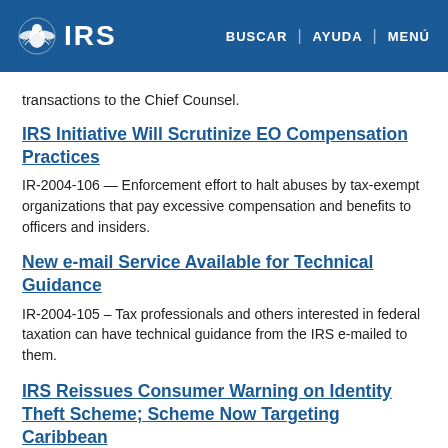IRS | BUSCAR | AYUDA | MENÚ
transactions to the Chief Counsel.
IRS Initiative Will Scrutinize EO Compensation Practices
IR-2004-106 — Enforcement effort to halt abuses by tax-exempt organizations that pay excessive compensation and benefits to officers and insiders.
New e-mail Service Available for Technical Guidance
IR-2004-105 – Tax professionals and others interested in federal taxation can have technical guidance from the IRS e-mailed to them.
IRS Reissues Consumer Warning on Identity Theft Scheme; Scheme Now Targeting Caribbean